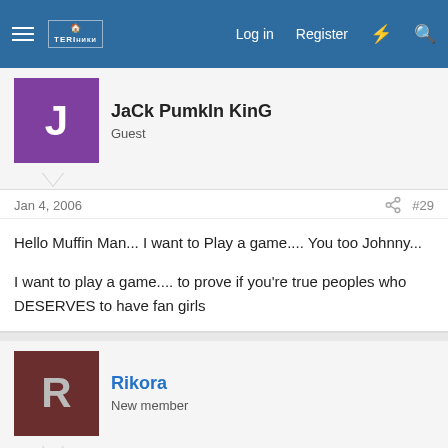Forum navigation bar with Log in, Register links
JaCk PumkIn KinG
Guest
Jan 4, 2006  #29
Hello Muffin Man... I want to Play a game.... You too Johnny...

I want to play a game.... to prove if you're true peoples who DESERVES to have fan girls
Rikora
New member
Jan 4, 2006  #30
JaCk PumkIn KinG said:
Hello Muffin Man... I want to Play a game.... You too Johnny...